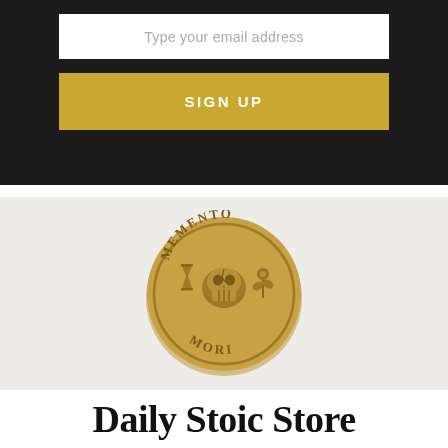Type your email address
SIGN UP
[Figure (photo): A gold Memento Mori coin featuring a skull, hourglass, and plant with the text MEMENTO MORI inscribed around the edge]
Daily Stoic Store